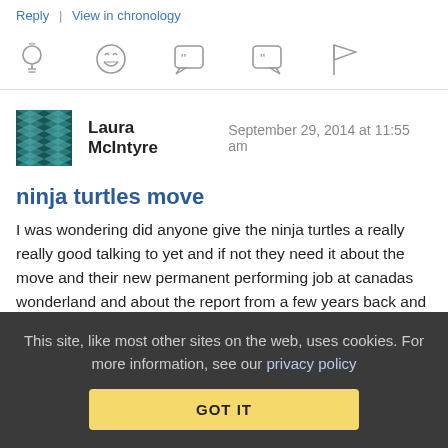Reply | View in chronology
[Figure (infographic): Row of five icon buttons: lightbulb, laughing emoji, left-quote speech bubble, right-quote speech bubble, flag]
Laura McIntyre   September 29, 2014 at 11:55 am
ninja turtles move
I was wondering did anyone give the ninja turtles a really really good talking to yet and if not they need it about the move and their new permanent performing job at canadas wonderland and about the report from a few years back and about the fact that they are putting me through pure hell just by being down there and about the fact that my father wouldnt be caught dead takeing
This site, like most other sites on the web, uses cookies. For more information, see our privacy policy
GOT IT